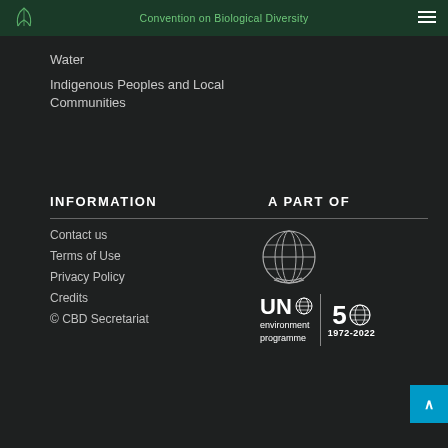Convention on Biological Diversity
Water
Indigenous Peoples and Local Communities
INFORMATION
A PART OF
Contact us
Terms of Use
Privacy Policy
Credits
© CBD Secretariat
[Figure (logo): UN Environment Programme logo with 50th anniversary badge (1972-2022)]